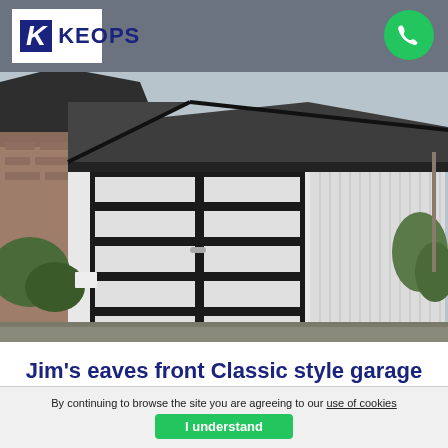KEOPS
[Figure (photo): Photograph of a white Keops Classic style garage with dark grey/black trim, double doors with black hinges and frame, corrugated white side panels, and a dark pitched roof. The garage is situated between a brick building on the left and garden greenery on the right.]
Jim's eaves front Classic style garage
By continuing to browse the site you are agreeing to our use of cookies
I understand